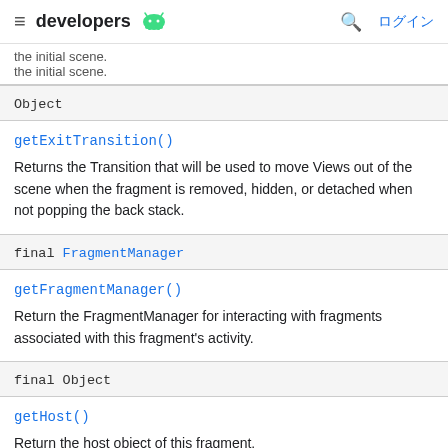developers | ログイン
the initial scene.
| Object |
| getExitTransition() | Returns the Transition that will be used to move Views out of the scene when the fragment is removed, hidden, or detached when not popping the back stack. |
| final FragmentManager |
| getFragmentManager() | Return the FragmentManager for interacting with fragments associated with this fragment's activity. |
| final Object |
| getHost() | Return the host object of this fragment. |
| final int |